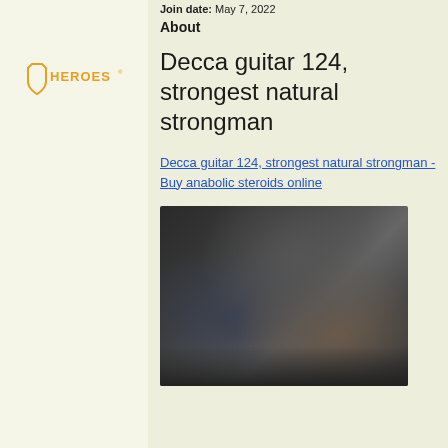[Figure (logo): Heroes logo with shield icon and text HEROES in orange]
Join date: May 7, 2022
About
Decca guitar 124, strongest natural strongman
Decca guitar 124, strongest natural strongman - Buy anabolic steroids online
[Figure (photo): Blurred dark photograph, contents obscured]